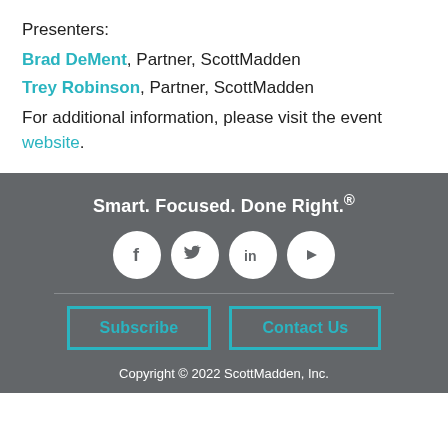Presenters:
Brad DeMent, Partner, ScottMadden
Trey Robinson, Partner, ScottMadden
For additional information, please visit the event website.
Smart. Focused. Done Right.®
[Figure (infographic): Four social media icon circles: Facebook, Twitter, LinkedIn, YouTube]
Subscribe   Contact Us
Copyright © 2022 ScottMadden, Inc.